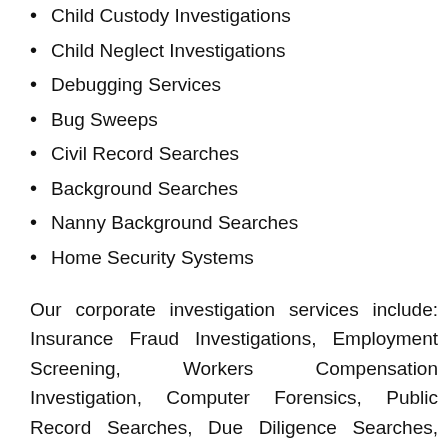Child Custody Investigations
Child Neglect Investigations
Debugging Services
Bug Sweeps
Civil Record Searches
Background Searches
Nanny Background Searches
Home Security Systems
Our corporate investigation services include: Insurance Fraud Investigations, Employment Screening, Workers Compensation Investigation, Computer Forensics, Public Record Searches, Due Diligence Searches, Corporate Theft Investigation, Competitor Intelligence, Investigations, Corporate Surveillance, Corporate Debugging Services, Corporate Bug Sweeps and Business Security Systems.